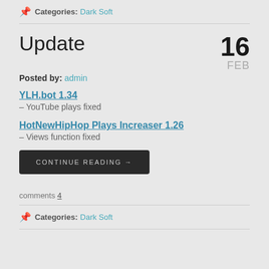Categories: Dark Soft
Update
Posted by: admin
16 FEB
YLH.bot 1.34 – YouTube plays fixed
HotNewHipHop Plays Increaser 1.26 – Views function fixed
CONTINUE READING →
comments 4
Categories: Dark Soft